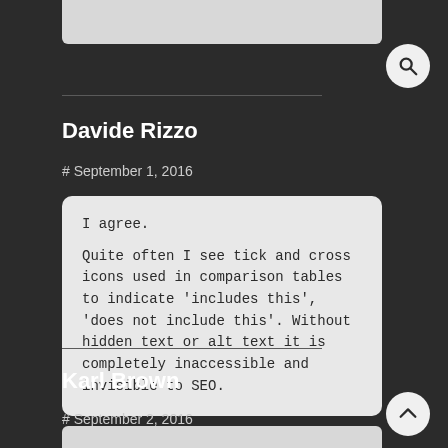Davide Rizzo
# September 1, 2016
I agree.

Quite often I see tick and cross icons used in comparison tables to indicate 'includes this', 'does not include this'. Without hidden text or alt text it is completely inaccessible and invisible to SEO.
Karl Brown
# September 2, 2016